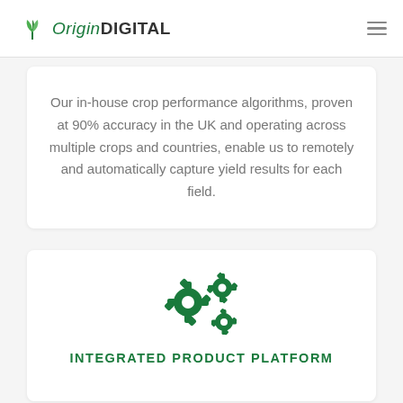OriginDIGITAL
Our in-house crop performance algorithms, proven at 90% accuracy in the UK and operating across multiple crops and countries, enable us to remotely and automatically capture yield results for each field.
[Figure (illustration): Two dark green gear/cog icons representing an integrated system]
INTEGRATED PRODUCT PLATFORM